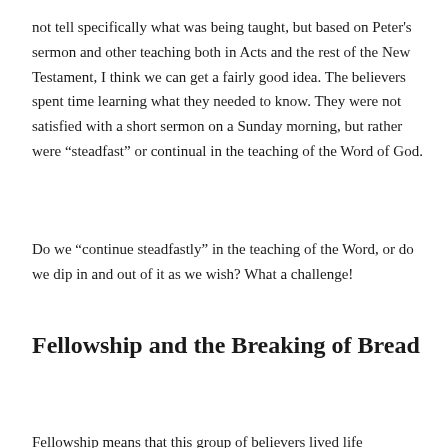not tell specifically what was being taught, but based on Peter's sermon and other teaching both in Acts and the rest of the New Testament, I think we can get a fairly good idea. The believers spent time learning what they needed to know. They were not satisfied with a short sermon on a Sunday morning, but rather were “steadfast” or continual in the teaching of the Word of God.
Do we “continue steadfastly” in the teaching of the Word, or do we dip in and out of it as we wish? What a challenge!
Fellowship and the Breaking of Bread
Fellowship means that this group of believers lived life